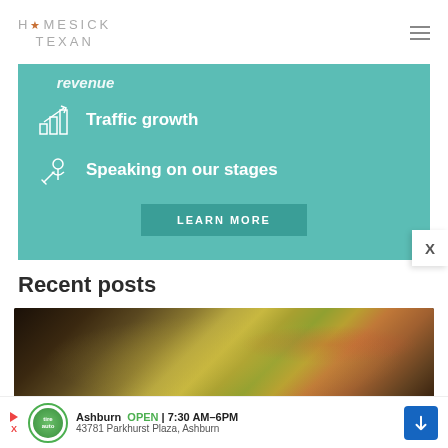HOMESICK TEXAN
[Figure (infographic): Teal promotional banner with icons and text listing Traffic growth, Speaking on our stages, and a LEARN MORE button. Partial text 'revenue' visible at top.]
Recent posts
[Figure (photo): Photo of food in a cast iron skillet — diced potatoes, cabbage, and tomatoes]
[Figure (infographic): Bottom advertisement banner: Ashburn OPEN 7:30AM-6PM, 43781 Parkhurst Plaza, Ashburn with auto logo and blue directional arrow icon]